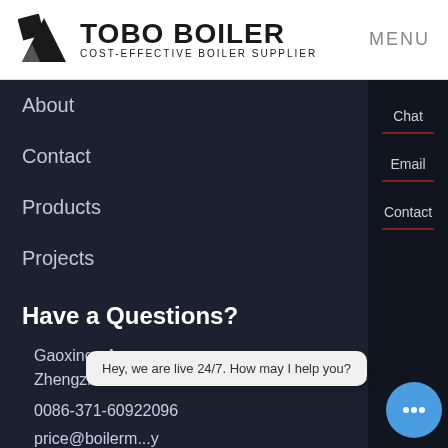TOBO BOILER — COST-EFFECTIVE BOILER SUPPLIER — MENU
About
Contact
Products
Projects
Have a Questions?
Gaoxinqu Area,
Zhengzhou Henan China
0086-371-60922096
price@boilerm...y
Chat
Email
Contact
Hey, we are live 24/7. How may I help you?